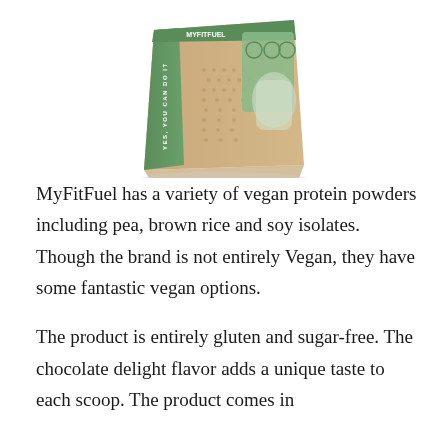[Figure (photo): A product bag of MyFitFuel vegan protein powder. The bag is kraft/tan colored with green accents and text 'YES, YOU CAN DO IT' on the side. The bag has icons and an image of a smoothie/shake on the front panel.]
MyFitFuel has a variety of vegan protein powders including pea, brown rice and soy isolates. Though the brand is not entirely Vegan, they have some fantastic vegan options.
The product is entirely gluten and sugar-free. The chocolate delight flavor adds a unique taste to each scoop. The product comes in